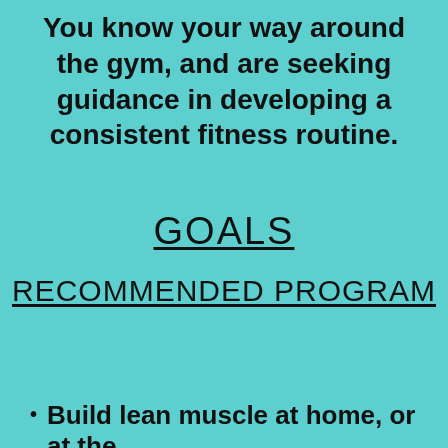You know your way around the gym, and are seeking guidance in developing a consistent fitness routine.
GOALS
RECOMMENDED PROGRAM
Build lean muscle at home, or at the